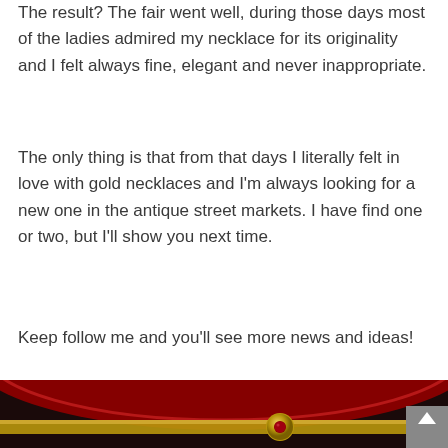The result? The fair went well, during those days most of the ladies admired my necklace for its originality and I felt always fine, elegant and never inappropriate.
The only thing is that from that days I literally felt in love with gold necklaces and I'm always looking for a new one in the antique street markets. I have find one or two, but I'll show you next time.
Keep follow me and you'll see more news and ideas!
[Figure (photo): Close-up photo of a gold necklace clasp with a red gemstone, against a dark red and gold background. A scroll-to-top button is visible in the bottom right corner.]